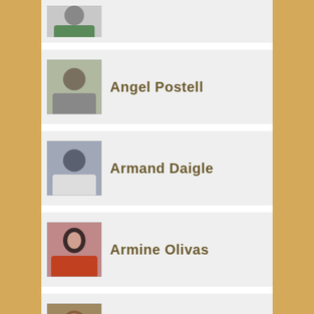[Figure (photo): Partial profile card at top showing a person with green clothing, cropped]
Angel Postell
Armand Daigle
Armine Olivas
Atorina Piccolo
Billy Gemmill
[Figure (photo): Partial profile card at bottom, person partially visible]